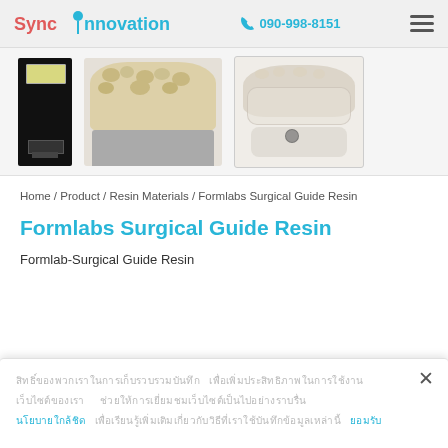Sync Innovation | 090-998-8151
[Figure (photo): Three product images: a black resin bottle, dental model tray, and dental ortho/surgical models on white background]
Home / Product / Resin Materials / Formlabs Surgical Guide Resin
Formlabs Surgical Guide Resin
Formlab-Surgical Guide Resin
Cookie consent popup with Thai text and close button